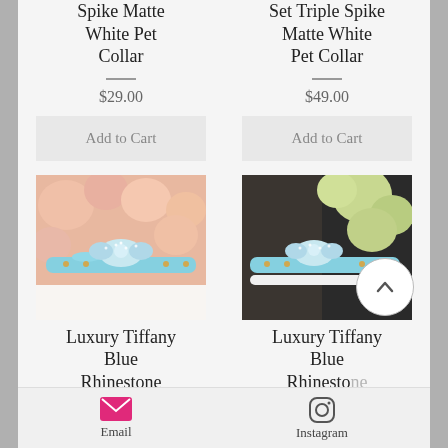Spike Matte White Pet Collar
$29.00
Add to Cart
Set Triple Spike Matte White Pet Collar
$49.00
Add to Cart
[Figure (photo): Light blue rhinestone bow pet collar on pink floral background]
[Figure (photo): Light blue rhinestone bow pet collar and leash set on floral background]
Luxury Tiffany Blue Rhinestone Bow Pet Collar
Luxury Tiffany Blue Rhinestone Bow Pet Collar & Leash Set
Email
Instagram